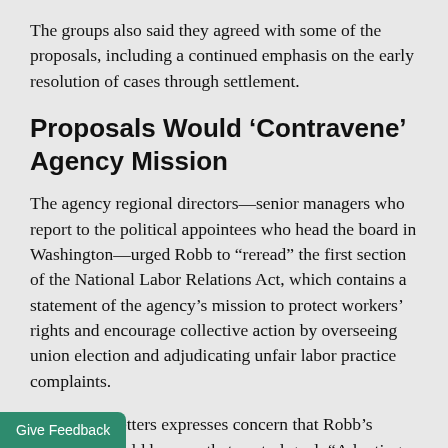The groups also said they agreed with some of the proposals, including a continued emphasis on the early resolution of cases through settlement.
Proposals Would ‘Contravene’ Agency Mission
The agency regional directors—senior managers who report to the political appointees who head the board in Washington—urged Robb to “reread” the first section of the National Labor Relations Act, which contains a statement of the agency’s mission to protect workers’ rights and encourage collective action by overseeing union election and adjudicating unfair labor practice complaints.
Each of the letters expresses concern that Robb’s proposals would hamper that central goal. “Adopting [policies] that result in efficient resolution of cases but [undermines] the mission of the Act is a hallow
Give Feedback